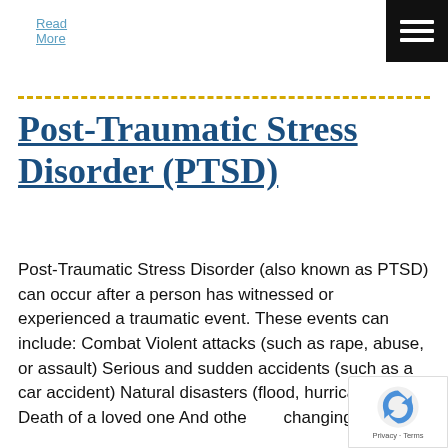Read More
Post-Traumatic Stress Disorder (PTSD)
Post-Traumatic Stress Disorder (also known as PTSD) can occur after a person has witnessed or experienced a traumatic event. These events can include: Combat Violent attacks (such as rape, abuse, or assault) Serious and sudden accidents (such as a car accident) Natural disasters (flood, hurricane, etc) Death of a loved one And othe... changing [...]